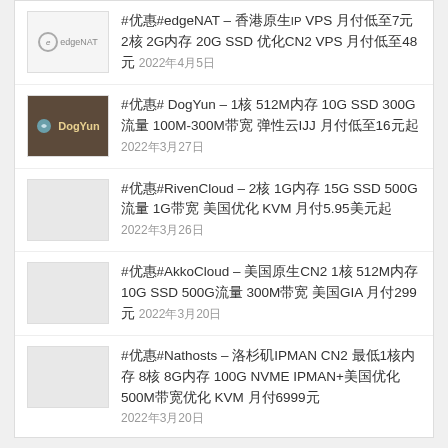#优惠#edgeNAT – 香港原生IP VPS 月付低至7元 2核 2G内存 20G SSD 优化CN2 VPS 月付低至48元 2022年4月5日
#优惠# DogYun – 1核 512M内存 10G SSD 300G流量 100M-300M带宽 弹性云IJJ 月付低至16元起 2022年3月27日
#优惠#RivenCloud – 2核 1G内存 15G SSD 500G流量 1G带宽 美国优化 KVM 月付5.95美元起 2022年3月26日
#优惠#AkkoCloud – 美国原生CN2 1核 512M内存 10G SSD 500G流量 300M带宽 美国GIA 月付299元 2022年3月20日
#优惠#Nathosts – 洛杉矶IPMAN CN2 最低1核内存 8核 8G内存 100G NVME IPMAN+美国优化 500M带宽优化 KVM 月付6999元 2022年3月20日
☰ 近期文章
↑